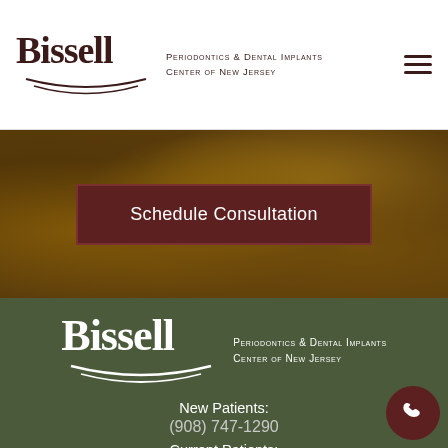[Figure (logo): Bissell Periodontics & Dental Implants Center of New Jersey logo in dark maroon, with swoosh lines, in white header bar with hamburger menu icon on right]
[Figure (photo): Autumn leaves background with dark overlay, containing a dark maroon 'Schedule Consultation' button]
Schedule Consultation
[Figure (logo): Bissell Periodontics & Dental Implants Center of New Jersey logo in white, on dark olive/green footer background]
New Patients:
(908) 747-1290
Current Patients:
(908) 879-1830